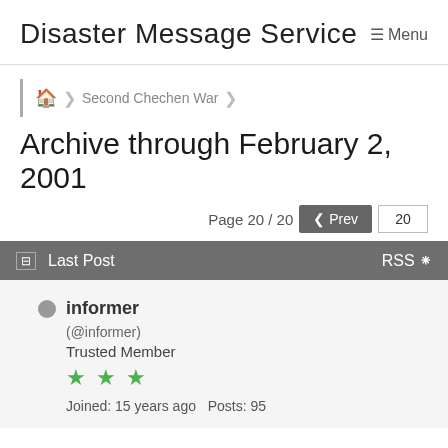Disaster Message Service   ≡ Menu
🏠 > Second Chechen War >
Archive through February 2, 2001
Page 20 / 20   ❮ Prev   20
☐ Last Post   RSS
informer
(@informer)
Trusted Member
★★★
Joined: 15 years ago   Posts: 95